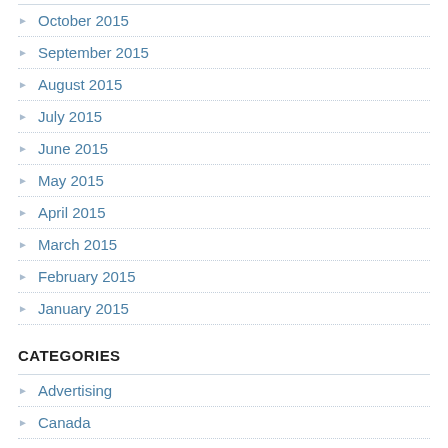October 2015
September 2015
August 2015
July 2015
June 2015
May 2015
April 2015
March 2015
February 2015
January 2015
CATEGORIES
Advertising
Canada
Energy Financial
hold01